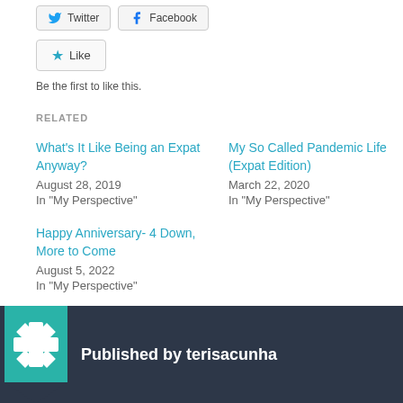[Figure (screenshot): Social share buttons: Twitter and Facebook]
[Figure (screenshot): Like button with star icon]
Be the first to like this.
RELATED
What's It Like Being an Expat Anyway?
August 28, 2019
In "My Perspective"
My So Called Pandemic Life (Expat Edition)
March 22, 2020
In "My Perspective"
Happy Anniversary- 4 Down, More to Come
August 5, 2022
In "My Perspective"
Published by terisacunha